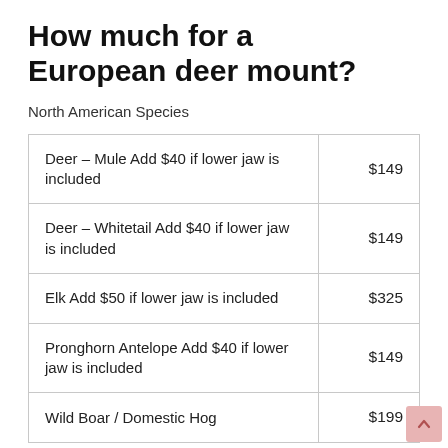How much for a European deer mount?
North American Species
| Species | Price |
| --- | --- |
| Deer – Mule Add $40 if lower jaw is included | $149 |
| Deer – Whitetail Add $40 if lower jaw is included | $149 |
| Elk Add $50 if lower jaw is included | $325 |
| Pronghorn Antelope Add $40 if lower jaw is included | $149 |
| Wild Boar / Domestic Hog | $199 |